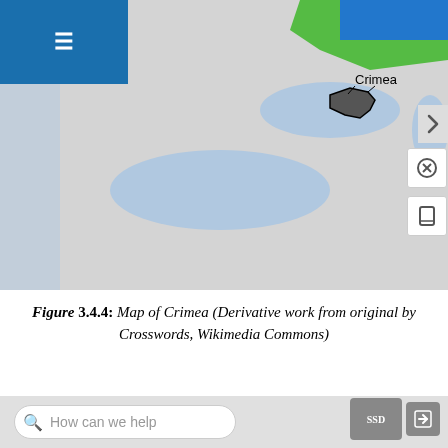[Figure (map): A map showing Europe and Western Russia/Caucasus region with Crimea labeled in the Black Sea area. Crimea is highlighted with a black outline. Green areas indicate Ukraine. Blue areas indicate Russia.]
Figure 3.4.4: Map of Crimea (Derivative work from original by Crosswords, Wikimedia Commons)
Several other ethnic groups that remain in Russia desire independence, particularly in the outskirts of the country in the Caucasus region along Russia's border with Georgia and Armenia (Figure 3.4.5). Chechnya is largely comprised of Chechens, a distinct Sunni Muslim nation. The territory opposed Russian...